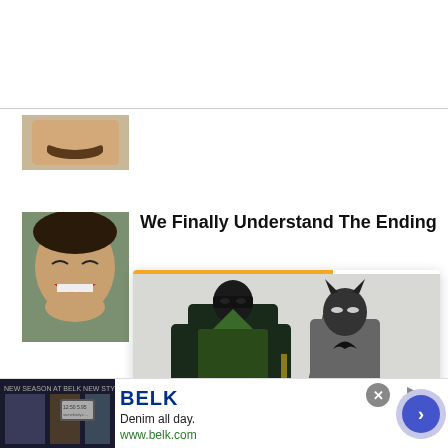[Figure (photo): Partial view of a man's face with mustache, cropped thumbnail]
[Figure (photo): Man with dark hair laughing/smiling, cropped thumbnail]
We Finally Understand The Ending Of No
[Figure (photo): Popup card showing two action figures - Green Arrow and Batman from Injustice 2, McFarlane Toys 7-inch figures, with orange navigation arrow button and close X]
McFarlane Toysannounces7-inch Injustice2Page Punchers
[Figure (screenshot): BELK advertisement banner: Denim all day. www.belk.com with blue circular arrow button and close button]